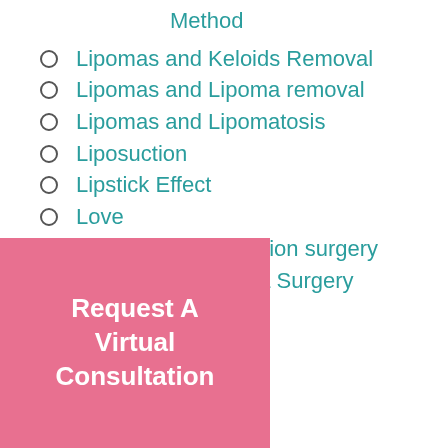Method
Lipomas and Keloids Removal
Lipomas and Lipoma removal
Lipomas and Lipomatosis
Liposuction
Lipstick Effect
Love
Male Breast Reduction surgery
Male Gynecomastia Surgery
medical
...urgical
[Figure (other): Pink button overlay with text 'Request A Virtual Consultation']